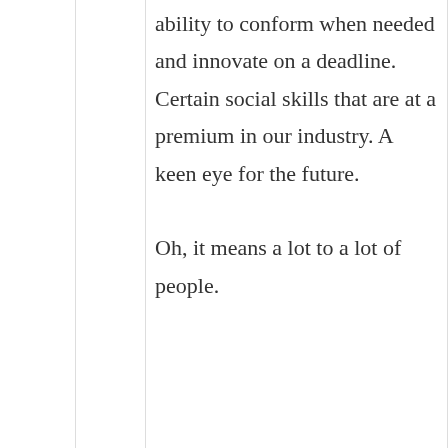ability to conform when needed and innovate on a deadline. Certain social skills that are at a premium in our industry. A keen eye for the future.

Oh, it means a lot to a lot of people.
Like
Omer Zach
September 20, 2009 at 4:34 pm
Certainly…